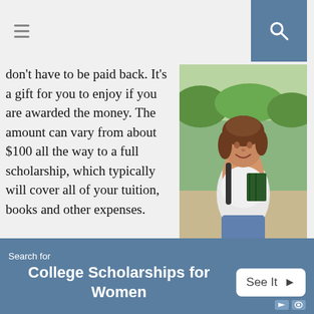[hamburger menu] [search icon]
don't have to be paid back. It's a gift for you to enjoy if you are awarded the money. The amount can vary from about $100 all the way to a full scholarship, which typically will cover all of your tuition, books and other expenses.
[Figure (photo): Young female student smiling outdoors, holding books, wearing a backpack and white polo shirt, with green bushes in the background.]
You have a very large number of scholarships and grants to look into. These are given out at the state and national level, by different universities, companies and organizations. If you have a particular affiliation
Search for College Scholarships for Women  See It >